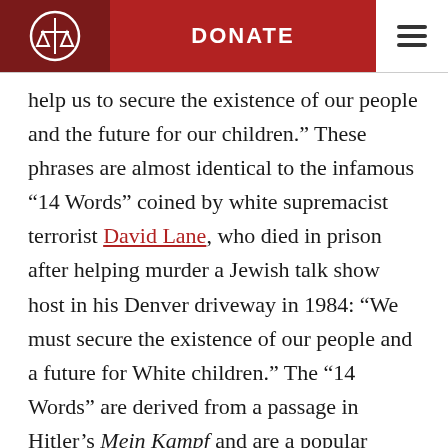DONATE
help us to secure the existence of our people and the future for our children.” These phrases are almost identical to the infamous “14 Words” coined by white supremacist terrorist David Lane, who died in prison after helping murder a Jewish talk show host in his Denver driveway in 1984: “We must secure the existence of our people and a future for White children.” The “14 Words” are derived from a passage in Hitler’s Mein Kampf and are a popular slogan for neo-Nazis and other racist extremists. Given these outreach efforts, it is not surprising that in